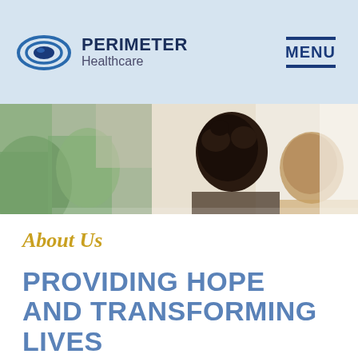[Figure (logo): Perimeter Healthcare logo with circular blue swoosh graphic and text 'PERIMETER Healthcare']
MENU
[Figure (photo): Photo strip showing two people in a warm indoor setting with plants and natural light]
About Us
PROVIDING HOPE AND TRANSFORMING LIVES